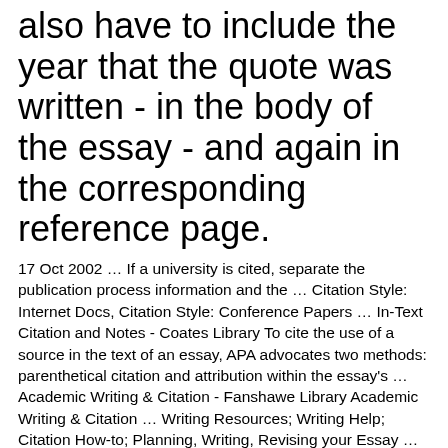also have to include the year that the quote was written - in the body of the essay - and again in the corresponding reference page.
17 Oct 2002 … If a university is cited, separate the publication process information and the … Citation Style: Internet Docs, Citation Style: Conference Papers … In-Text Citation and Notes - Coates Library To cite the use of a source in the text of an essay, APA advocates two methods: parenthetical citation and attribution within the essay's … Academic Writing & Citation - Fanshawe Library Academic Writing & Citation … Writing Resources; Writing Help; Citation How-to; Planning, Writing, Revising your Essay … The Learning Portal: How to Cite … Explanation · APA in Minutes: In-Text Citations · MLA Formatting: List of